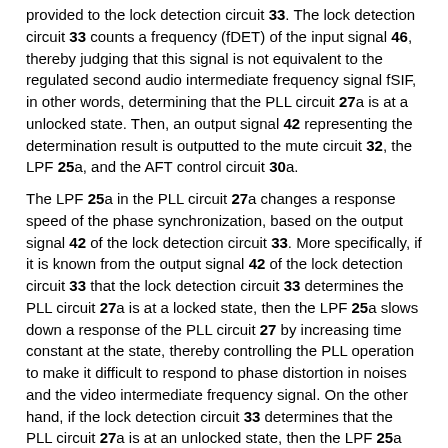provided to the lock detection circuit 33. The lock detection circuit 33 counts a frequency (fDET) of the input signal 46, thereby judging that this signal is not equivalent to the regulated second audio intermediate frequency signal fSIF, in other words, determining that the PLL circuit 27a is at a unlocked state. Then, an output signal 42 representing the determination result is outputted to the mute circuit 32, the LPF 25a, and the AFT control circuit 30a.
The LPF 25a in the PLL circuit 27a changes a response speed of the phase synchronization, based on the output signal 42 of the lock detection circuit 33. More specifically, if it is known from the output signal 42 of the lock detection circuit 33 that the lock detection circuit 33 determines the PLL circuit 27a is at a locked state, then the LPF 25a slows down a response of the PLL circuit 27 by increasing time constant at the state, thereby controlling the PLL operation to make it difficult to respond to phase distortion in noises and the video intermediate frequency signal. On the other hand, if the lock detection circuit 33 determines that the PLL circuit 27a is at an unlocked state, then the LPF 25a speeds up the response by decreasing time constant at the state, thereby expanding a capture range of the PLL.
The AFT control circuit 30a controls the channel selection processing performed by the tuner circuit 11, based on the signal s from the VCO 26 of